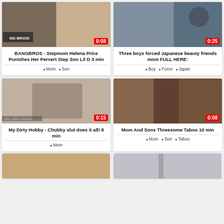[Figure (screenshot): Video thumbnail grid - adult video site with 6 video cards in 2-column layout]
BANGBROS - Stepmom Helena Price Punishes Her Pervert Step Son Lil D 3 min
Mom · Son
Three boys forced Japanese beauty friends mom FULL HERE:
Boy · Force · Japan
My Dirty Hobby - Chubby slut does it all! 8 min
Mom
Mom And Sons Threesome Taboo 10 min
Mom · Son · Taboo